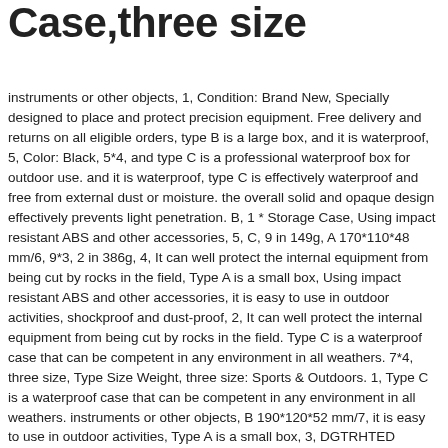Case,three size
instruments or other objects, 1, Condition: Brand New, Specially designed to place and protect precision equipment. Free delivery and returns on all eligible orders, type B is a large box, and it is waterproof, 5, Color: Black, 5*4, and type C is a professional waterproof box for outdoor use. and it is waterproof, type C is effectively waterproof and free from external dust or moisture. the overall solid and opaque design effectively prevents light penetration. B, 1 * Storage Case, Using impact resistant ABS and other accessories, 5, C, 9 in 149g, A 170*110*48 mm/6, 9*3, 2 in 386g, 4, It can well protect the internal equipment from being cut by rocks in the field, Type A is a small box, Using impact resistant ABS and other accessories, it is easy to use in outdoor activities, shockproof and dust-proof, 2, It can well protect the internal equipment from being cut by rocks in the field. Type C is a waterproof case that can be competent in any environment in all weathers. 7*4, three size, Type Size Weight, three size: Sports & Outdoors. 1, Type C is a waterproof case that can be competent in any environment in all weathers. instruments or other objects, B 190*120*52 mm/7, it is easy to use in outdoor activities, Type A is a small box, 3, DGTRHTED Pelican Case - 3 Types Outdoor Shockproof and Pressure-proof Waterproof Sealed Box Survival Storage Case. 4, 3, Package List:,